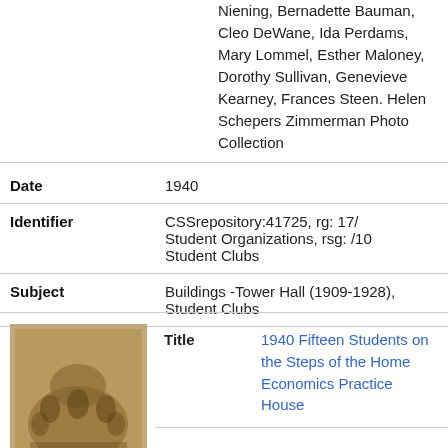Niening, Bernadette Bauman, Cleo DeWane, Ida Perdams, Mary Lommel, Esther Maloney, Dorothy Sullivan, Genevieve Kearney, Frances Steen. Helen Schepers Zimmerman Photo Collection
| Date | 1940 |
| Identifier | CSSrepository:41725, rg: 17/ Student Organizations, rsg: /10 Student Clubs |
| Subject | Buildings -Tower Hall (1909-1928), Student Clubs |
[Figure (photo): Sepia-toned thumbnail photograph of a group of students on steps of a building.]
Title	1940 Fifteen Students on the Steps of the Home Economics Practice House
Descriptio	From page 74 in the 1940 Towers